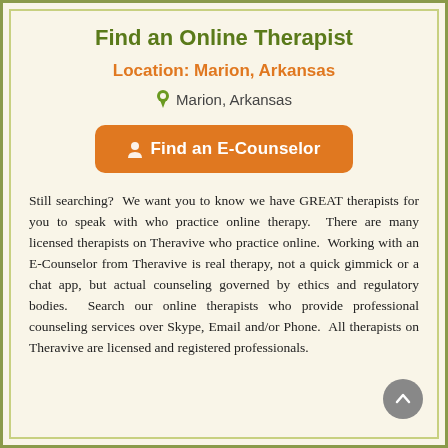Find an Online Therapist
Location: Marion, Arkansas
Marion, Arkansas
Find an E-Counselor
Still searching?  We want you to know we have GREAT therapists for you to speak with who practice online therapy.  There are many licensed therapists on Theravive who practice online.  Working with an E-Counselor from Theravive is real therapy, not a quick gimmick or a chat app, but actual counseling governed by ethics and regulatory bodies.  Search our online therapists who provide professional counseling services over Skype, Email and/or Phone.  All therapists on Theravive are licensed and registered professionals.